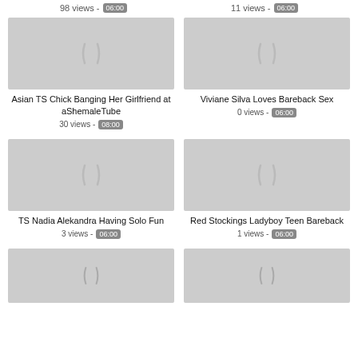98 views - 06:00
11 views - 06:00
[Figure (photo): Video thumbnail placeholder grey]
Asian TS Chick Banging Her Girlfriend at aShemaleTube
30 views - 08:00
[Figure (photo): Video thumbnail placeholder grey]
Viviane Silva Loves Bareback Sex
0 views - 06:00
[Figure (photo): Video thumbnail placeholder grey]
TS Nadia Alekandra Having Solo Fun
3 views - 06:00
[Figure (photo): Video thumbnail placeholder grey]
Red Stockings Ladyboy Teen Bareback
1 views - 06:00